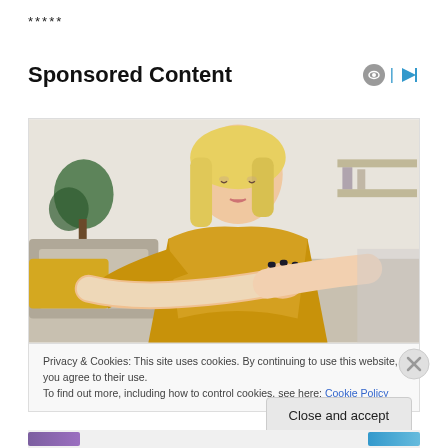*****
Sponsored Content
[Figure (photo): Woman with blonde hair wearing a yellow knit sweater, looking down at her arm/elbow, sitting on a couch. Indoor lifestyle/health setting.]
Privacy & Cookies: This site uses cookies. By continuing to use this website, you agree to their use.
To find out more, including how to control cookies, see here: Cookie Policy
Close and accept